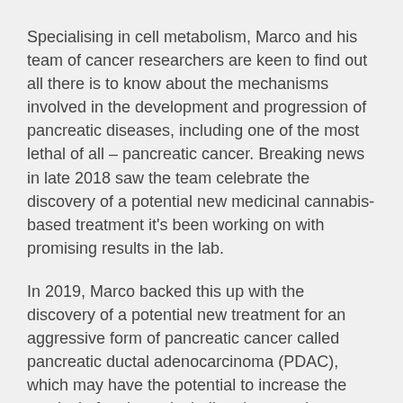Specialising in cell metabolism, Marco and his team of cancer researchers are keen to find out all there is to know about the mechanisms involved in the development and progression of pancreatic diseases, including one of the most lethal of all – pancreatic cancer. Breaking news in late 2018 saw the team celebrate the discovery of a potential new medicinal cannabis-based treatment it's been working on with promising results in the lab.
In 2019, Marco backed this up with the discovery of a potential new treatment for an aggressive form of pancreatic cancer called pancreatic ductal adenocarcinoma (PDAC), which may have the potential to increase the survival of patients, including those resistant to currently available cancer chemotherapeutic drugs. An international collaborative research team led by Marco found a specialised protein in human PDAC cancer cells that is critical to tumour progression; and that treatment with a